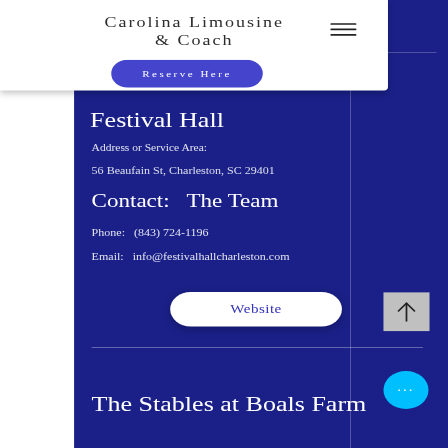Carolina Limousine & Coach
Reserve Here
Festival Hall
Address or Service Area:
56 Beaufain St, Charleston, SC 29401
Contact:   The Team
Phone:   (843) 724-1196
Email:   info@festivalhallcharleston.com
Website
The Stables at Boals Farm